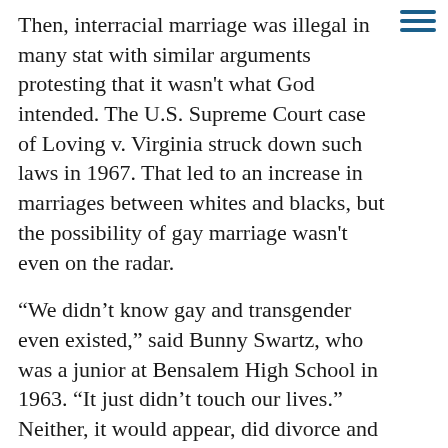Then, interracial marriage was illegal in many states, with similar arguments protesting that it wasn't what God intended. The U.S. Supreme Court case of Loving v. Virginia struck down such laws in 1967. That led to an increase in marriages between whites and blacks, but the possibility of gay marriage wasn't even on the radar.
“We didn’t know gay and transgender even existed,” said Bunny Swartz, who was a junior at Bensalem High School in 1963. “It just didn’t touch our lives.” Neither, it would appear, did divorce and dysfunction — at least not compared with their prevalence today.
“If someone got a divorce, it was horrifying in your circle of friends,” said Whalen. “I would think there were